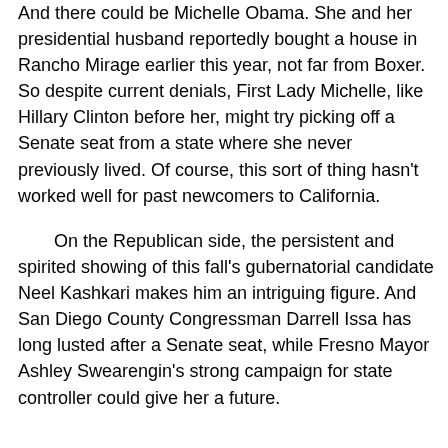And there could be Michelle Obama. She and her presidential husband reportedly bought a house in Rancho Mirage earlier this year, not far from Boxer. So despite current denials, First Lady Michelle, like Hillary Clinton before her, might try picking off a Senate seat from a state where she never previously lived. Of course, this sort of thing hasn't worked well for past newcomers to California.
On the Republican side, the persistent and spirited showing of this fall's gubernatorial candidate Neel Kashkari makes him an intriguing figure. And San Diego County Congressman Darrell Issa has long lusted after a Senate seat, while Fresno Mayor Ashley Swearengin's strong campaign for state controller could give her a future.